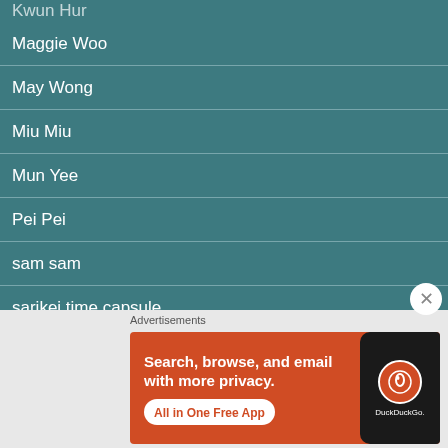Kwun Hur
Maggie Woo
May Wong
Miu Miu
Mun Yee
Pei Pei
sam sam
sarikei time capsule
Shin Yee
[Figure (screenshot): DuckDuckGo advertisement banner: orange background with text 'Search, browse, and email with more privacy. All in One Free App' and a phone mockup showing DuckDuckGo logo]